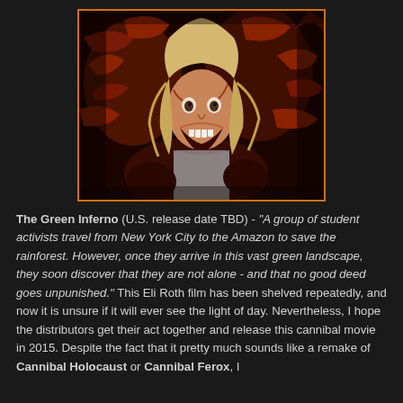[Figure (photo): A horror movie still showing a blonde woman screaming in terror surrounded by people with red-covered hands reaching toward her.]
The Green Inferno (U.S. release date TBD) - "A group of student activists travel from New York City to the Amazon to save the rainforest. However, once they arrive in this vast green landscape, they soon discover that they are not alone - and that no good deed goes unpunished." This Eli Roth film has been shelved repeatedly, and now it is unsure if it will ever see the light of day. Nevertheless, I hope the distributors get their act together and release this cannibal movie in 2015. Despite the fact that it pretty much sounds like a remake of Cannibal Holocaust or Cannibal Ferox, I